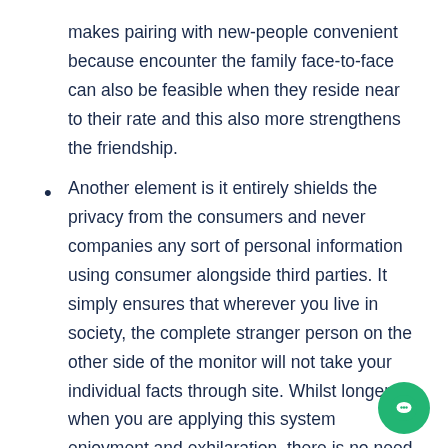makes pairing with new-people convenient because encounter the family face-to-face can also be feasible when they reside near to their rate and this also more strengthens the friendship.
Another element is it entirely shields the privacy from the consumers and never companies any sort of personal information using consumer alongside third parties. It simply ensures that wherever you live in society, the complete stranger person on the other side of the monitor will not take your individual facts through site. Whilst longer when you are applying this system enjoyment and exhilaration, there is no need to bother with things. You might be safer, secure, and